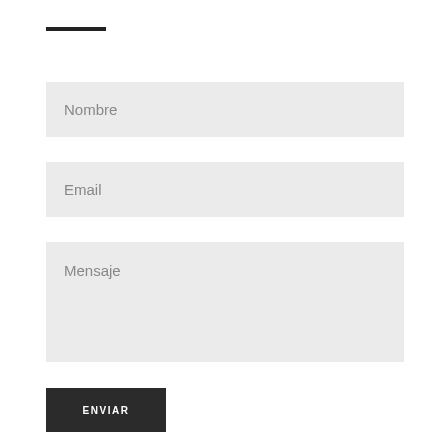[Figure (other): Horizontal dark decorative line]
Nombre
Email
Mensaje
ENVIAR